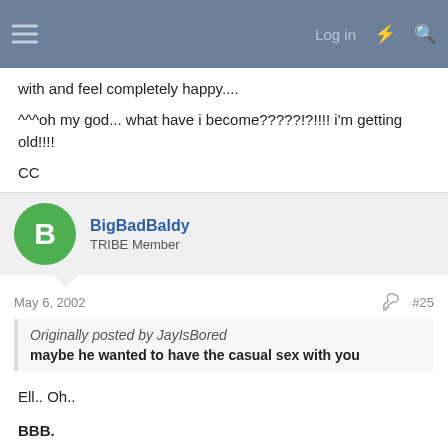Log in
with and feel completely happy....
^^^oh my god... what have i become?????!?!!!! i'm getting old!!!!
CC
BigBadBaldy
TRIBE Member
May 6, 2002
#25
Originally posted by JayIsBored
maybe he wanted to have the casual sex with you
Ell.. Oh..
BBB.